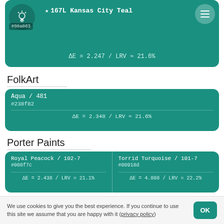[Figure (other): Teal color swatch card: star icon, lightbulb icon circle, hex #80a083, title '167L Kansas City Teal', menu icon, delta E = 2.247 / LRV ≈ 21.6%]
FolkArt
[Figure (other): Teal color swatch card: Aqua / 481, #238f82, ΔE = 2.348 / LRV ≈ 21.6%]
Porter Paints
[Figure (other): Split teal color swatch card: left: Royal Peacock / 102-7, #008f7c, ΔE = 2.438 / LRV ≈ 21.1%; right: Torrid Turquoise / 101-7, #00918d, ΔE = 4.808 / LRV ≈ 22.2%]
Old Citadel
[Figure (other): Teal color swatch card: Dark Green Ink, #108473, ΔE = 2.576 / LRV ≈ 17.8%]
We use cookies to give you the best experience. If you continue to use this site we assume that you are happy with it (privacy policy)